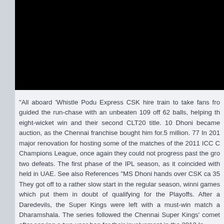[Figure (photo): Black image block at the top of the page, likely a video thumbnail or photograph that has been redacted or is not loading.]
"All aboard 'Whistle Podu Express CSK hire train to take fans from guided the run-chase with an unbeaten 109 off 62 balls, helping th eight-wicket win and their second CLT20 title. 10 Dhoni became auction, as the Chennai franchise bought him for.5 million. 77 In 201 major renovation for hosting some of the matches of the 2011 ICC C Champions League, once again they could not progress past the gro two defeats. The first phase of the IPL season, as it coincided with held in UAE. See also References "MS Dhoni hands over CSK ca 35 They got off to a rather slow start in the regular season, winni games which put them in doubt of qualifying for the Playoffs. After a Daredevils, the Super Kings were left with a must-win match a Dharamshala. The series followed the Chennai Super Kings' comet after serving a two-year ban for their involvement in the 2013 In